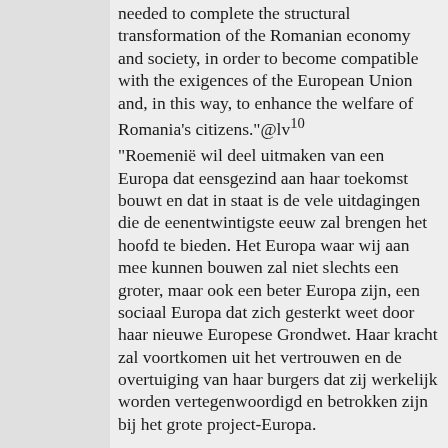needed to complete the structural transformation of the Romanian economy and society, in order to become compatible with the exigences of the European Union and, in this way, to enhance the welfare of Romania's citizens."@lv¹⁰
"Roemenië wil deel uitmaken van een Europa dat eensgezind aan haar toekomst bouwt en dat in staat is de vele uitdagingen die de eenentwintigste eeuw zal brengen het hoofd te bieden. Het Europa waar wij aan mee kunnen bouwen zal niet slechts een groter, maar ook een beter Europa zijn, een sociaal Europa dat zich gesterkt weet door haar nieuwe Europese Grondwet. Haar kracht zal voortkomen uit het vertrouwen en de overtuiging van haar burgers dat zij werkelijk worden vertegenwoordigd en betrokken zijn bij het grote project-Europa.